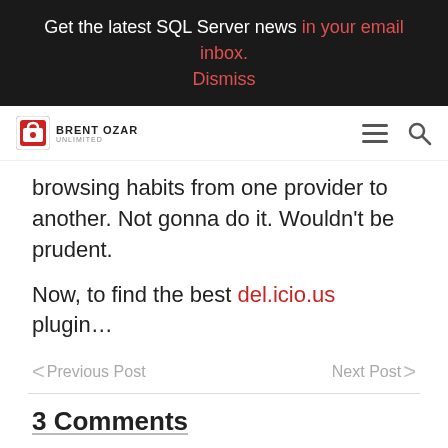Get the latest SQL Server news in your email inbox. Dismiss
[Figure (logo): Brent Ozar Unlimited logo with heart padlock icon and hamburger menu and search icon]
browsing habits from one provider to another. Not gonna do it. Wouldn't be prudent.
Now, to find the best del.icio.us plugin...
< Previous Post    Next Post >
3 Comments
[Figure (illustration): Green pentagon avatar with sad face for commenter Will Pate]
Will Pate
October 19, 2006 3:21 am
Hey Brent, don't run away so fast. The user interface